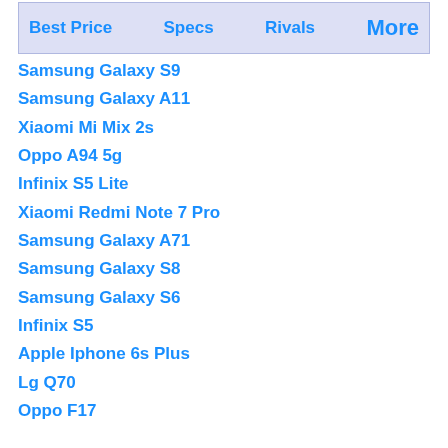Best Price | Specs | Rivals | More
Samsung Galaxy S9
Samsung Galaxy A11
Xiaomi Mi Mix 2s
Oppo A94 5g
Infinix S5 Lite
Xiaomi Redmi Note 7 Pro
Samsung Galaxy A71
Samsung Galaxy S8
Samsung Galaxy S6
Infinix S5
Apple Iphone 6s Plus
Lg Q70
Oppo F17